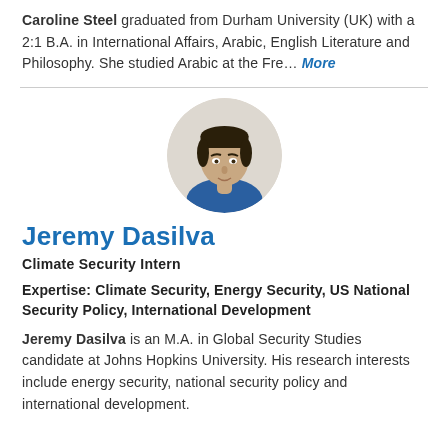Caroline Steel graduated from Durham University (UK) with a 2:1 B.A. in International Affairs, Arabic, English Literature and Philosophy. She studied Arabic at the Fre... More
[Figure (photo): Circular profile photo of Jeremy Dasilva, a young man with short dark hair, wearing a blue shirt, photographed against a light background.]
Jeremy Dasilva
Climate Security Intern
Expertise: Climate Security, Energy Security, US National Security Policy, International Development
Jeremy Dasilva is an M.A. in Global Security Studies candidate at Johns Hopkins University. His research interests include energy security, national security policy and international development.